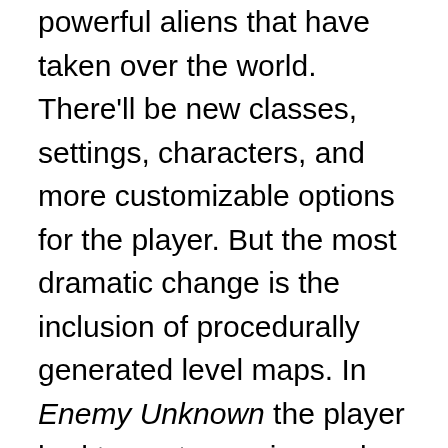powerful aliens that have taken over the world. There'll be new classes, settings, characters, and more customizable options for the player. But the most dramatic change is the inclusion of procedurally generated level maps. In Enemy Unknown the player had to spot enemies and engage them in warfare. But since XCOM is a much less powerful entity in the sequel, it's up to the player to be more strategic in their engagement with the aliens. The level design in Enemy Unknown eventually became routine, but with the procedural factor in effect here. Firaxis is looking to